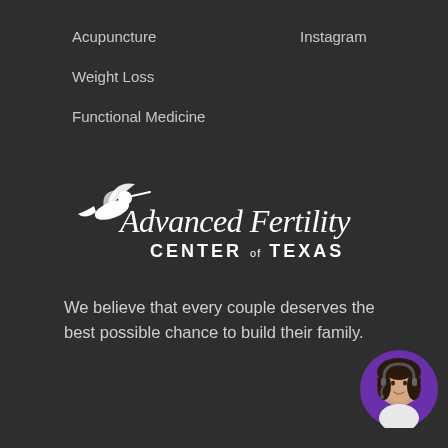Acupuncture
Instagram
Weight Loss
Functional Medicine
[Figure (logo): Advanced Fertility Center of Texas logo with hummingbird icon and script/serif text]
We believe that every couple deserves the best possible chance to build their family.
[Figure (photo): Small circular chat widget with photo of a woman with dark hair wearing a headset, purple background circle in bottom-right corner]